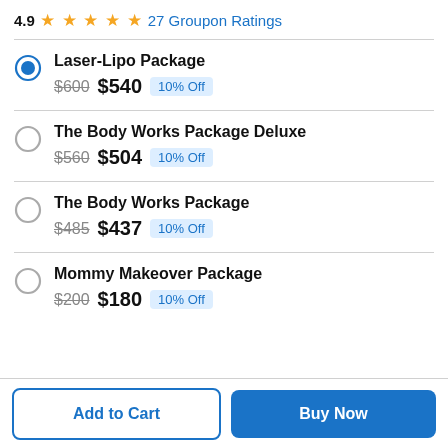4.9 ★★★★★ 27 Groupon Ratings
Laser-Lipo Package — $600 $540 10% Off
The Body Works Package Deluxe — $560 $504 10% Off
The Body Works Package — $485 $437 10% Off
Mommy Makeover Package — $200 $180 10% Off
Add to Cart | Buy Now